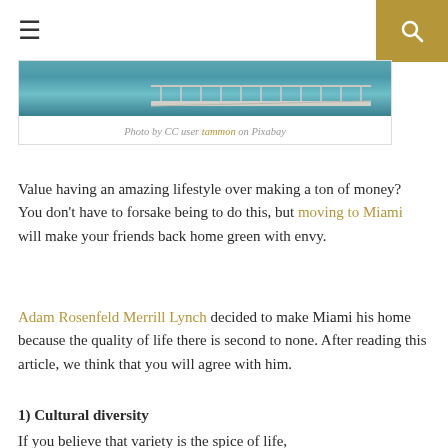≡  🔍
[Figure (photo): Aerial or elevated view of a pier/bridge over water, with teal/green water below and a wooden or concrete walkway structure.]
Photo by CC user tammon on Pixabay
Value having an amazing lifestyle over making a ton of money? You don't have to forsake being to do this, but moving to Miami will make your friends back home green with envy.
Adam Rosenfeld Merrill Lynch decided to make Miami his home because the quality of life there is second to none. After reading this article, we think that you will agree with him.
1) Cultural diversity
If you believe that variety is the spice of life,